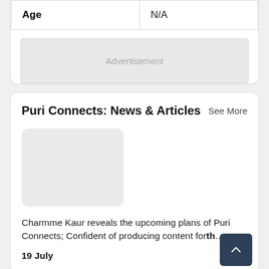| Age | N/A |
[Figure (other): Advertisement placeholder box with light gray background]
Puri Connects: News & Articles
See More
[Figure (photo): Thumbnail image placeholder with rounded corners and light gray background]
Charmme Kaur reveals the upcoming plans of Puri Connects; Confident of producing content forth...
19 July